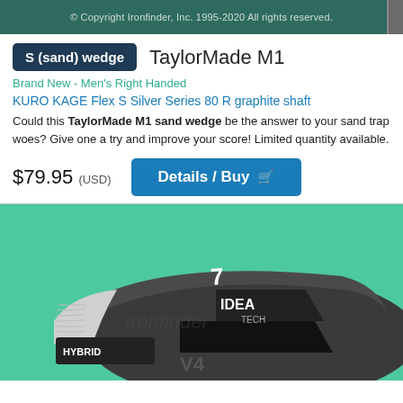© Copyright Ironfinder, Inc. 1995-2020  All rights reserved.
S (sand) wedge  TaylorMade M1
Brand New - Men's Right Handed
KURO KAGE Flex S Silver Series 80 R graphite shaft
Could this TaylorMade M1 sand wedge be the answer to your sand trap woes? Give one a try and improve your score! Limited quantity available.
$79.95 (USD)  Details / Buy
[Figure (photo): Close-up photo of a dark gray Adams Idea Tech Hybrid V4 golf iron club head against a green background, with the number 7 visible on the club face and 'IDEA TECH HYBRID' branding on the club head.]